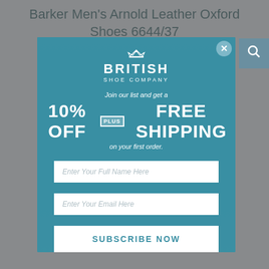Barker Men's Arnold Leather Oxford Shoes 6644/37
[Figure (screenshot): British Shoe Company modal popup with teal background, logo with crown, promotional offer '10% OFF PLUS FREE SHIPPING on your first order', two input fields for name and email, and a SUBSCRIBE NOW button]